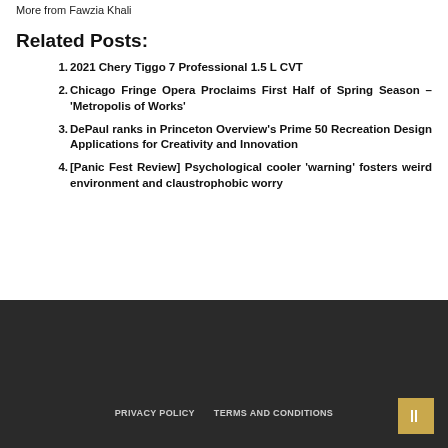More from Fawzia Khali
Related Posts:
2021 Chery Tiggo 7 Professional 1.5 L CVT
Chicago Fringe Opera Proclaims First Half of Spring Season – 'Metropolis of Works'
DePaul ranks in Princeton Overview's Prime 50 Recreation Design Applications for Creativity and Innovation
[Panic Fest Review] Psychological cooler 'warning' fosters weird environment and claustrophobic worry
PRIVACY POLICY   TERMS AND CONDITIONS